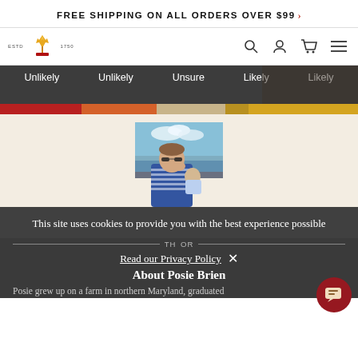FREE SHIPPING ON ALL ORDERS OVER $99 >
[Figure (logo): Website navigation bar with logo (ESTD 1750 crown/wheat emblem) on left and search, user, cart, menu icons on right]
[Figure (infographic): Dark background section showing likelihood scale labels: Unlikely, Unlikely, Unsure, Likely, Likely with colored progress bar below in red, orange, tan, gold segments]
[Figure (photo): Photo of a woman wearing sunglasses and striped shirt holding a baby, standing near water with blue sky background, in cream/off-white section]
This site uses cookies to provide you with the best experience possible
Read our Privacy Policy
About Posie Brien
Posie grew up on a farm in northern Maryland, graduated